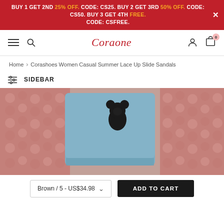BUY 1 GET 2ND 25% OFF. CODE: CS25. BUY 2 GET 3RD 50% OFF. CODE: CS50. BUY 3 GET 4TH FREE. CODE: CSFREE.
[Figure (logo): Coraone brand navigation bar with hamburger menu, search icon, logo, user icon, and cart icon showing 0 items]
Home > Corashoes Women Casual Summer Lace Up Slide Sandals
SIDEBAR
[Figure (photo): Close-up photo of women's slide sandals with blue fuzzy fabric featuring Mickey Mouse graphic, worn with pink chunky knit accessory]
Brown / 5 - US$34.98
ADD TO CART